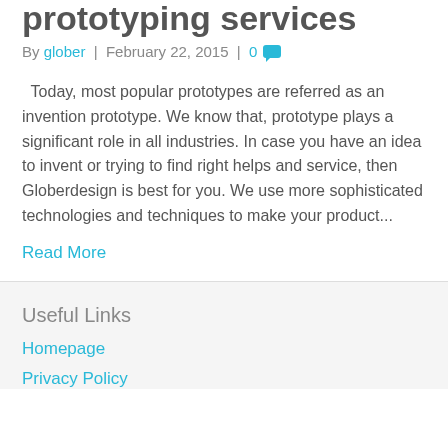prototyping services
By glober | February 22, 2015 | 0
Today, most popular prototypes are referred as an invention prototype. We know that, prototype plays a significant role in all industries. In case you have an idea to invent or trying to find right helps and service, then Globerdesign is best for you. We use more sophisticated technologies and techniques to make your product...
Read More
Useful Links
Homepage
Privacy Policy